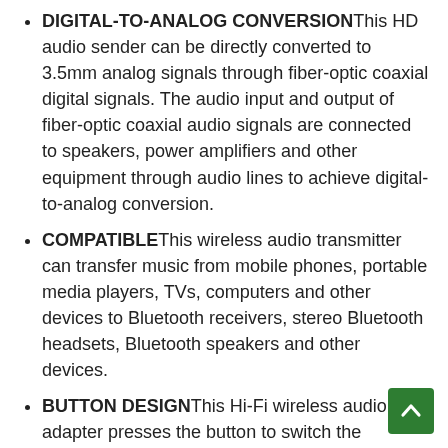DIGITAL-TO-ANALOG CONVERSION—This HD audio sender can be directly converted to 3.5mm analog signals through fiber-optic coaxial digital signals. The audio input and output of fiber-optic coaxial audio signals are connected to speakers, power amplifiers and other equipment through audio lines to achieve digital-to-analog conversion.
COMPATIBLE—This wireless audio transmitter can transfer music from mobile phones, portable media players, TVs, computers and other devices to Bluetooth receivers, stereo Bluetooth headsets, Bluetooth speakers and other devices.
BUTTON DESIGN—This Hi-Fi wireless audio adapter presses the button to switch the interface light to switch the input interface. Small size, light weight, simple design, small storage space, easy for you to carry and use.
DUAL-PURPOSE—This long range bluetooth receiver is a dual-purpose Bluetooth adapter with